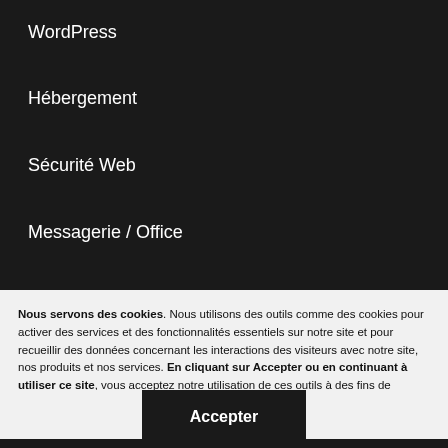WordPress
Hébergement
Sécurité Web
Messagerie / Office
Nous servons des cookies. Nous utilisons des outils comme des cookies pour activer des services et des fonctionnalités essentiels sur notre site et pour recueillir des données concernant les interactions des visiteurs avec notre site, nos produits et nos services. En cliquant sur Accepter ou en continuant à utiliser ce site, vous acceptez notre utilisation de ces outils à des fins de publicité et d'analyse. En savoir plus
Accepter
Refuser
Gérer les paramètres